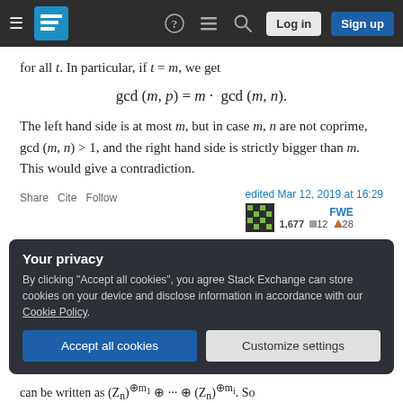Stack Exchange navigation bar with hamburger, logo, help, chat, search, log in, sign up
for all t. In particular, if t = m, we get
The left hand side is at most m, but in case m, n are not coprime, gcd (m, n) > 1, and the right hand side is strictly bigger than m. This would give a contradiction.
Share  Cite  Follow  |  edited Mar 12, 2019 at 16:29  FWE  1,677  12  28
Your privacy
By clicking "Accept all cookies", you agree Stack Exchange can store cookies on your device and disclose information in accordance with our Cookie Policy.
Accept all cookies  Customize settings
can be written as (Z_n)^⊕m_1 ⊕ ··· ⊕ (Z_n)^⊕m_i. So